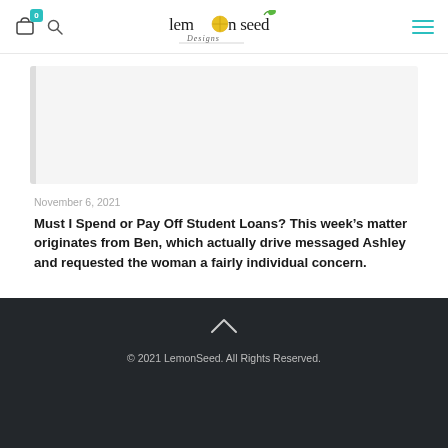lemon seed Designs — nav bar with cart (0), search, logo, hamburger menu
[Figure (photo): Rectangular light gray image placeholder with left border accent]
November 6, 2021
Must I Spend or Pay Off Student Loans? This week's matter originates from Ben, which actually drive messaged Ashley and requested the woman a fairly individual concern.
Read more
© 2021 LemonSeed. All Rights Reserved.